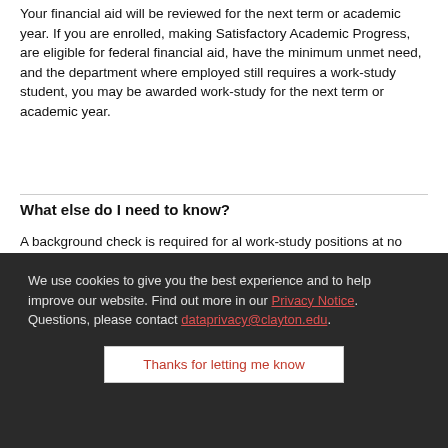Your financial aid will be reviewed for the next term or academic year. If you are enrolled, making Satisfactory Academic Progress, are eligible for federal financial aid, have the minimum unmet need, and the department where employed still requires a work-study student, you may be awarded work-study for the next term or academic year.
What else do I need to know?
A background check is required for al work-study positions at no cost to you.  You must attend at least one
We use cookies to give you the best experience and to help improve our website. Find out more in our Privacy Notice. Questions, please contact dataprivacy@clayton.edu.
Thanks for letting me know